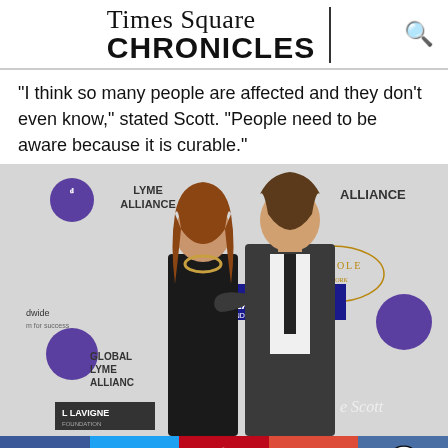Times Square CHRONICLES
"I think so many people are affected and they don't even know," stated Scott. "People need to be aware because it is curable."
[Figure (photo): Two people posing at a Lyme Alliance / Global Lyme Alliance / Avril Lavigne Foundation event backdrop. A woman in black and a man in a dark suit. Logos include Global Lyme Alliance, Avril Lavigne Foundation, Aureole, and others visible on the step-and-repeat backdrop.]
Social sharing bar with Facebook, Twitter, Pinterest, Google+, and comment icons